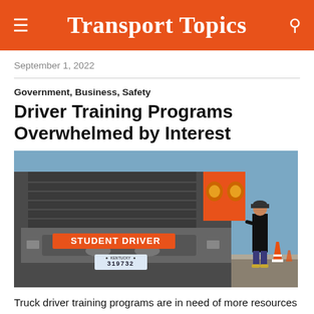Transport Topics
September 1, 2022
Government, Business, Safety
Driver Training Programs Overwhelmed by Interest
[Figure (photo): Close-up of front of a truck with 'STUDENT DRIVER' sign and license plate 319732, with a person standing in the background near traffic cones.]
Truck driver training programs are in need of more resources and instructors to handle an influx of people interested in joining the industry.